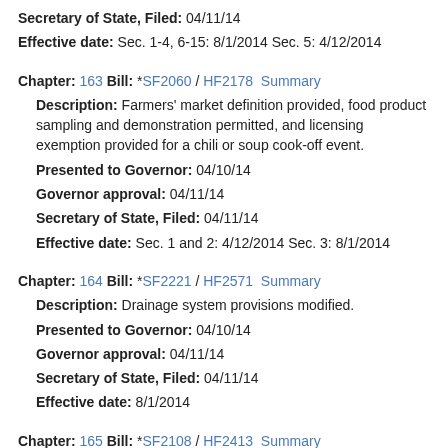Secretary of State, Filed: 04/11/14
Effective date: Sec. 1-4, 6-15: 8/1/2014 Sec. 5: 4/12/2014
Chapter: 163 Bill: *SF2060 / HF2178  Summary
Description: Farmers' market definition provided, food product sampling and demonstration permitted, and licensing exemption provided for a chili or soup cook-off event.
Presented to Governor: 04/10/14
Governor approval: 04/11/14
Secretary of State, Filed: 04/11/14
Effective date: Sec. 1 and 2: 4/12/2014 Sec. 3: 8/1/2014
Chapter: 164 Bill: *SF2221 / HF2571  Summary
Description: Drainage system provisions modified.
Presented to Governor: 04/10/14
Governor approval: 04/11/14
Secretary of State, Filed: 04/11/14
Effective date: 8/1/2014
Chapter: 165 Bill: *SF2108 / HF2413  Summary